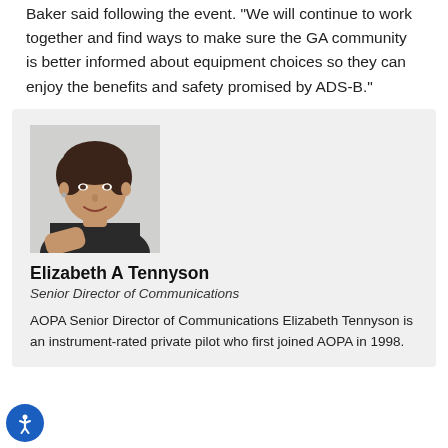Baker said following the event. "We will continue to work together and find ways to make sure the GA community is better informed about equipment choices so they can enjoy the benefits and safety promised by ADS-B."
[Figure (photo): Professional headshot of Elizabeth A Tennyson, a woman with dark hair wearing a black top, posed with hands folded, light grey background]
Elizabeth A Tennyson
Senior Director of Communications
AOPA Senior Director of Communications Elizabeth Tennyson is an instrument-rated private pilot who first joined AOPA in 1998.